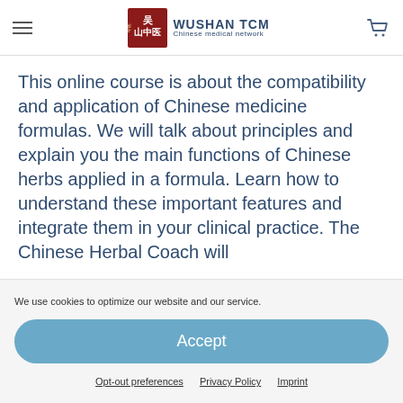WUSHAN TCM — Chinese medical network
This online course is about the compatibility and application of Chinese medicine formulas. We will talk about principles and explain you the main functions of Chinese herbs applied in a formula. Learn how to understand these important features and integrate them in your clinical practice. The Chinese Herbal Coach will
We use cookies to optimize our website and our service.
Accept
Opt-out preferences   Privacy Policy   Imprint